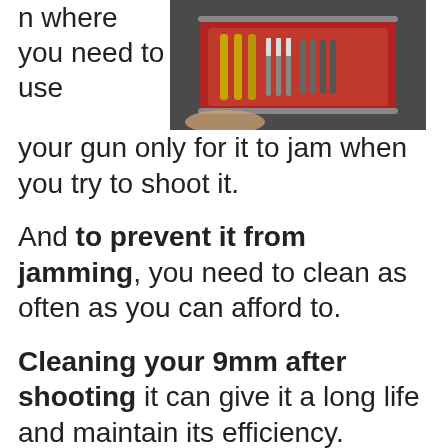n where you need to use your gun only for it to jam when you try to shoot it.
[Figure (photo): A red gun cleaning kit case open, showing various cleaning tools including brushes and rods, held by a hand.]
And to prevent it from jamming, you need to clean as often as you can afford to.
Cleaning your 9mm after shooting it can give it a long life and maintain its efficiency.
Some gun owners may argue that you don't need to clean it every time you use it, but after a few uses, you should clean it to keep in tip-top condition.